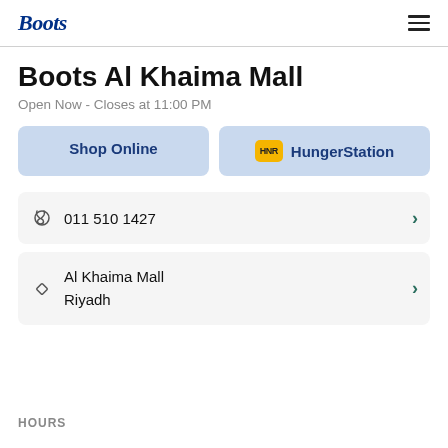Boots | Al Khaima Mall
Boots Al Khaima Mall
Open Now - Closes at 11:00 PM
Shop Online
HungerStation
011 510 1427
Al Khaima Mall
Riyadh
HOURS